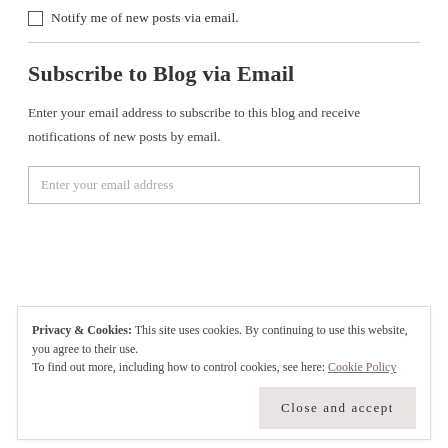Notify me of new posts via email.
Subscribe to Blog via Email
Enter your email address to subscribe to this blog and receive notifications of new posts by email.
Enter your email address
Privacy & Cookies: This site uses cookies. By continuing to use this website, you agree to their use.
To find out more, including how to control cookies, see here: Cookie Policy
Close and accept